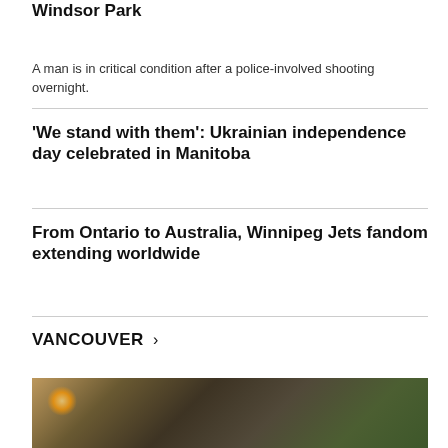Windsor Park
A man is in critical condition after a police-involved shooting overnight.
'We stand with them': Ukrainian independence day celebrated in Manitoba
From Ontario to Australia, Winnipeg Jets fandom extending worldwide
VANCOUVER >
[Figure (photo): Outdoor scene at night or dusk, showing a road or pathway with lights and trees, Vancouver news photo]